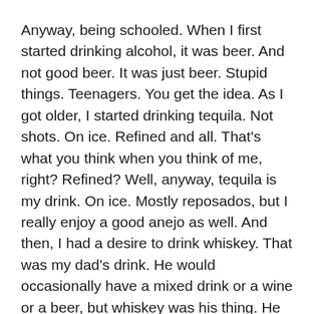Anyway, being schooled. When I first started drinking alcohol, it was beer. And not good beer. It was just beer. Stupid things. Teenagers. You get the idea. As I got older, I started drinking tequila. Not shots. On ice. Refined and all. That's what you think when you think of me, right? Refined? Well, anyway, tequila is my drink. On ice. Mostly reposados, but I really enjoy a good anejo as well. And then, I had a desire to drink whiskey. That was my dad's drink. He would occasionally have a mixed drink or a wine or a beer, but whiskey was his thing. He collected rare and expensive bottles. He drank the good stuff.
I started drinking whiskey shortly before we lost him. He taught me so much, and I wanted him to teach me so much more. He was always willing to teach. We never got a chance to really drink whiskey together, but that doesn't stop me from thinking about him when I have a